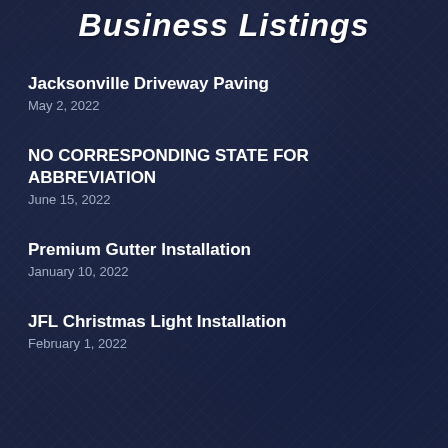Business Listings
Jacksonville Driveway Paving
May 2, 2022
NO CORRESPONDING STATE FOR ABBREVIATION
June 15, 2022
Premium Gutter Installation
January 10, 2022
JFL Christmas Light Installation
February 1, 2022